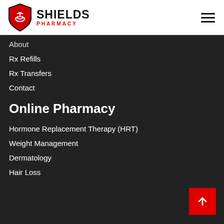[Figure (logo): Shields Pharmacy logo with red shield icon and text 'SHIELDS PHARMACY']
About
Rx Refills
Rx Transfers
Contact
Online Pharmacy
Hormone Replacement Therapy (HRT)
Weight Management
Dermatology
Hair Loss